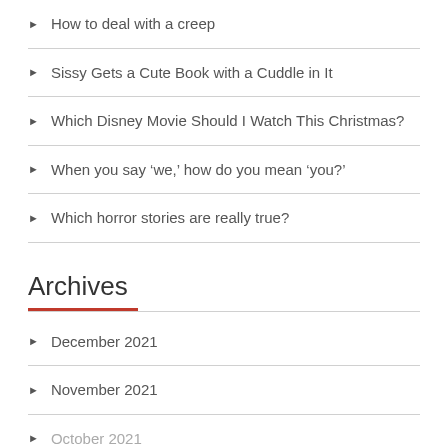How to deal with a creep
Sissy Gets a Cute Book with a Cuddle in It
Which Disney Movie Should I Watch This Christmas?
When you say 'we,' how do you mean 'you?'
Which horror stories are really true?
Archives
December 2021
November 2021
October 2021